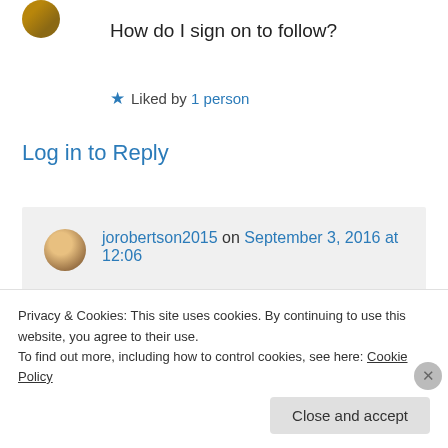How do I sign on to follow?
★ Liked by 1 person
Log in to Reply
jorobertson2015 on September 3, 2016 at 12:06
There should be a follow button if you're a WordPress user but if not there should be a
Privacy & Cookies: This site uses cookies. By continuing to use this website, you agree to their use.
To find out more, including how to control cookies, see here: Cookie Policy